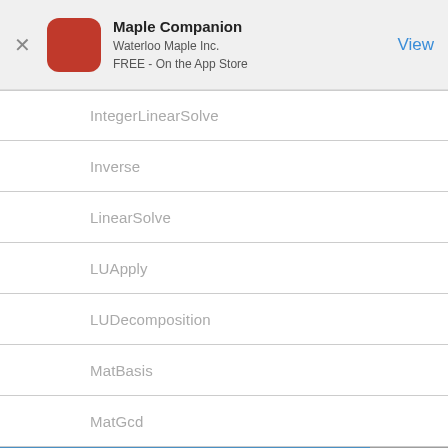Maple Companion
Waterloo Maple Inc.
FREE - On the App Store
IntegerLinearSolve
Inverse
LinearSolve
LUApply
LUDecomposition
MatBasis
MatGcd
MatrixPower
Mod